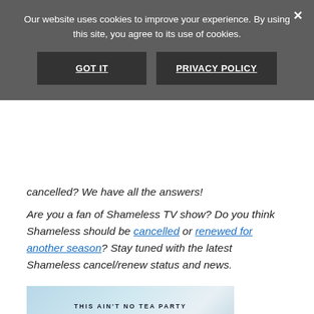Our website uses cookies to improve your experience. By using this site, you agree to its use of cookies.
GOT IT | PRIVACY POLICY
cancelled? We have all the answers!
Are you a fan of Shameless TV show? Do you think Shameless should be cancelled or renewed for another season? Stay tuned with the latest Shameless cancel/renew status and news.
[Figure (photo): Shameless TV show promotional banner with tagline 'THIS AIN'T NO TEA PARTY' and pink Shameless logo on light blue/grey background]